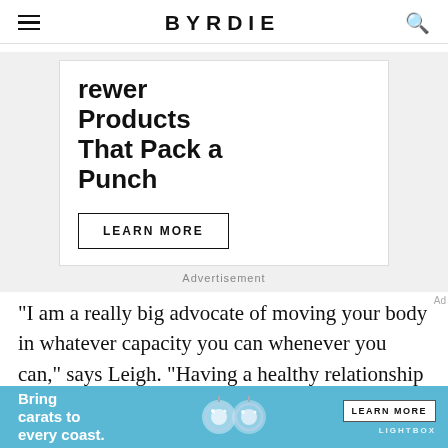BYRDIE
[Figure (other): Advertisement banner showing partial text 'rewer Products That Pack a Punch' with a LEARN MORE button, on white background within a gray container. Caption: Advertisement.]
Advertisement
"I am a really big advocate of moving your body in whatever capacity you can whenever you can," says Leigh. "Having a healthy relationship with cardio makes it easier to bust a move on the dance floor,
[Figure (other): Bottom advertisement banner in light blue with text 'Bring carats to every coast.' showing diamond earrings jewelry image, LEARN MORE button, and LIGHTBOX brand label.]